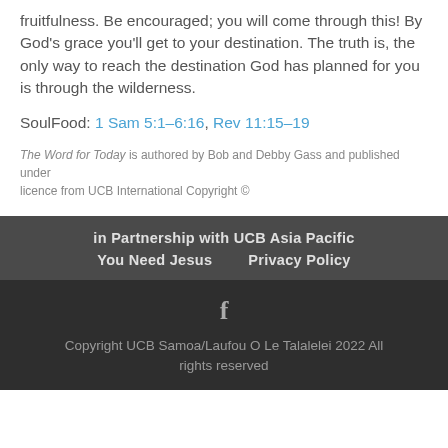fruitfulness. Be encouraged; you will come through this! By God's grace you'll get to your destination. The truth is, the only way to reach the destination God has planned for you is through the wilderness.
SoulFood: 1 Sam 5:1–6:16, Rev 11:15–19
The Word for Today is authored by Bob and Debby Gass and published under licence from UCB International Copyright ©
in Partnership with UCB Asia Pacific
You Need Jesus    Privacy Policy
f
Copyright UCB Samoa/Laufou O Le Talalelei 2022 All rights reserved